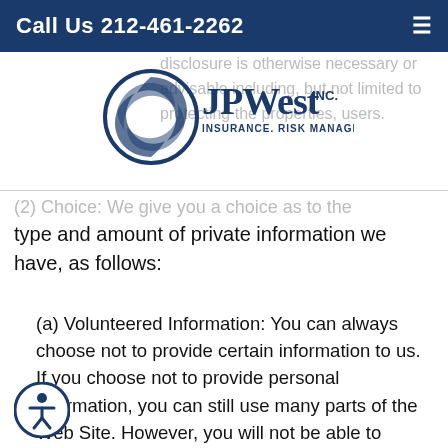Call Us 212-461-2262
[Figure (logo): JPWest Inc. Insurance. Risk Management. Surety logo with circular swoosh graphic]
disclosure is otherwise necessary or advisable including, but not limited to protecting the properties, users.
(2) Choice: We give you a choice as to the type and amount of private information we have, as follows:
(a) Volunteered Information: You can always choose not to provide certain information to us. If you choose not to provide personal information, you can still use many parts of the Web Site. However, you will not be able to purchase products and services and you will not be able to take advantage of many of our features. If you have previously provided certain information to us and you desire to